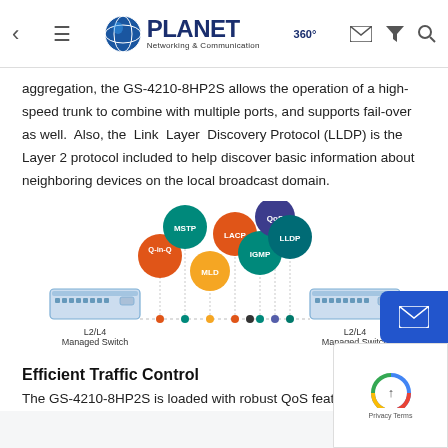PLANET Networking & Communication
aggregation, the GS-4210-8HP2S allows the operation of a high-speed trunk to combine with multiple ports, and supports fail-over as well.  Also, the Link Layer Discovery Protocol (LLDP) is the Layer 2 protocol included to help discover basic information about neighboring devices on the local broadcast domain.
[Figure (infographic): Network diagram showing protocol bubbles (Q-in-Q, MSTP, MLD, LACP, IGMP, QoS, LLDP) floating above a dotted line connecting two L2/L4 Managed Switches on either side.]
Efficient Traffic Control
The GS-4210-8HP2S is loaded with robust QoS features and